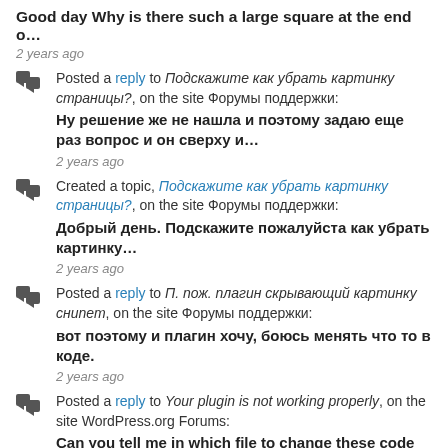Good day Why is there such a large square at the end o…
2 years ago
Posted a reply to Подскажите как убрать картинку страницы?, on the site Форумы поддержки: Ну решение же не нашла и поэтому задаю еще раз вопрос и он сверху и…
2 years ago
Created a topic, Подскажите как убрать картинку страницы?, on the site Форумы поддержки: Добрый день. Подскажите пожалуйста как убрать картинку…
2 years ago
Posted a reply to П. пож. плагин скрывающий картинку снипет, on the site Форумы поддержки: вот поэтому и плагин хочу, боюсь менять что то в коде.
2 years ago
Posted a reply to Your plugin is not working properly, on the site WordPress.org Forums: Can you tell me in which file to change these code